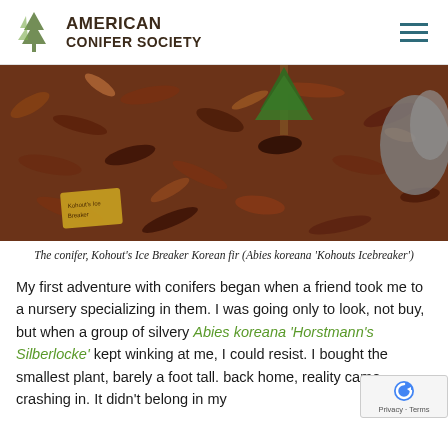AMERICAN CONIFER SOCIETY
[Figure (photo): Close-up photo of mulch, bark chips, and a small conifer plant with a plant label tag visible in the lower left]
The conifer, Kohout's Ice Breaker Korean fir (Abies koreana 'Kohouts Icebreaker')
My first adventure with conifers began when a friend took me to a nursery specializing in them. I was going only to look, not buy, but when a group of silvery Abies koreana 'Horstmann's Silberlocke' kept winking at me, I could resist. I bought the smallest plant, barely a foot tall. back home, reality came crashing in. It didn't belong in my